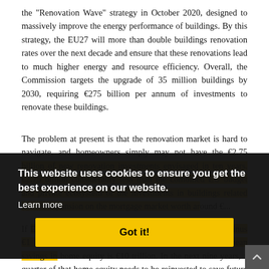the "Renovation Wave" strategy in October 2020, designed to massively improve the energy performance of buildings. By this strategy, the EU27 will more than double buildings renovation rates over the next decade and ensure that these renovations lead to much higher energy and resource efficiency. Overall, the Commission targets the upgrade of 35 million buildings by 2030, requiring €275 billion per annum of investments to renovate these buildings.
The problem at present is that the renovation market is hard to navigate, and homeowners simply may not have the €2.75 billion of new renovation investments envisaged in ten years. €2.75 billion considerably less than the combined EU budget and private ecosystem of the investments in buildings related market expansion on the mortgage market worth around €...
If European homes are estimated to be worth €1 trillion minus €1 trillion of mortgages. Precise the amount of European savings in home equity is €10 trillion. In the next nine years, a quarter of that home equity needs to be reinvested to save future energy
[Figure (other): Cookie consent banner overlay with dark background. Text reads: 'This website uses cookies to ensure you get the best experience on our website.' with a 'Learn more' link and a yellow 'Got it!' button.]